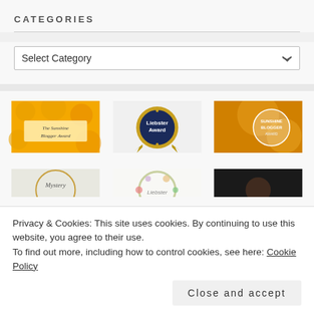CATEGORIES
[Figure (screenshot): Dropdown select box with label 'Select Category' and a chevron/arrow on the right]
[Figure (photo): Grid of blogger award images: Sunshine Blogger Award (sunflowers background), Liebster Award (dark blue circle gold badge), Sunshine Blogger Award (sunflowers sunset), Mystery Blogger Award (partial), Liebster Award floral wreath (partial), dark image (partial)]
Privacy & Cookies: This site uses cookies. By continuing to use this website, you agree to their use.
To find out more, including how to control cookies, see here: Cookie Policy
Close and accept